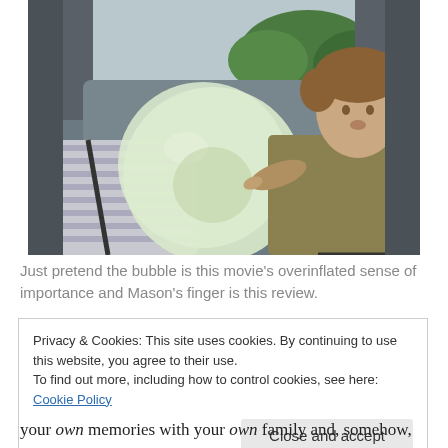[Figure (photo): Two boys sitting in the back seat of a car. The left boy, wearing a striped shirt, has a large green bubble gum bubble covering his face. The right boy, wearing a tan/olive sweater, is pointing his finger toward the bubble. Trees and a car window are visible in the background.]
Just pretend the bubble is this movie's overinflated sense of importance and Mason's finger is this review.
Privacy & Cookies: This site uses cookies. By continuing to use this website, you agree to their use.
To find out more, including how to control cookies, see here: Cookie Policy
Close and accept
your own memories with your own family and, somehow,